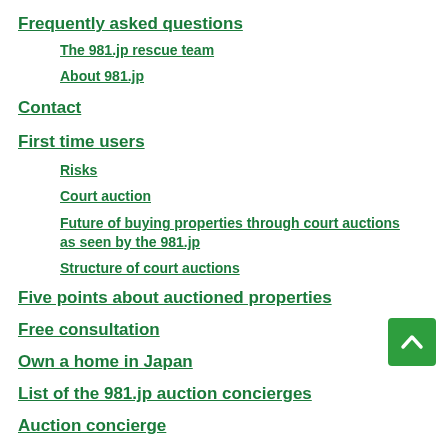Frequently asked questions
The 981.jp rescue team
About 981.jp
Contact
First time users
Risks
Court auction
Future of buying properties through court auctions as seen by the 981.jp
Structure of court auctions
Five points about auctioned properties
Free consultation
Own a home in Japan
List of the 981.jp auction concierges
Auction concierge
Membership system